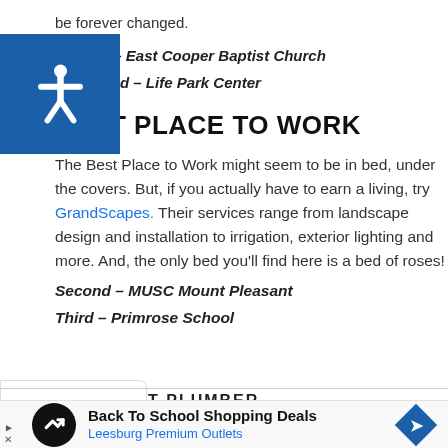be forever changed.
Second – East Cooper Baptist Church
Third – Life Park Center
BEST PLACE TO WORK
The Best Place to Work might seem to be in bed, under the covers. But, if you actually have to earn a living, try GrandScapes. Their services range from landscape design and installation to irrigation, exterior lighting and more. And, the only bed you'll find here is a bed of roses!
Second – MUSC Mount Pleasant
Third – Primrose School
Back To School Shopping Deals
Leesburg Premium Outlets